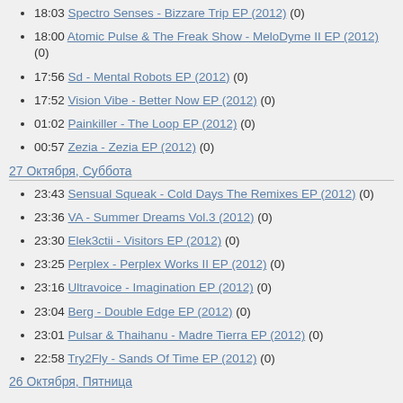18:03 Spectro Senses - Bizzare Trip EP (2012) (0)
18:00 Atomic Pulse & The Freak Show - MeloDyme II EP (2012) (0)
17:56 Sd - Mental Robots EP (2012) (0)
17:52 Vision Vibe - Better Now EP (2012) (0)
01:02 Painkiller - The Loop EP (2012) (0)
00:57 Zezia - Zezia EP (2012) (0)
27 Октября, Суббота
23:43 Sensual Squeak - Cold Days The Remixes EP (2012) (0)
23:36 VA - Summer Dreams Vol.3 (2012) (0)
23:30 Elek3ctii - Visitors EP (2012) (0)
23:25 Perplex - Perplex Works II EP (2012) (0)
23:16 Ultravoice - Imagination EP (2012) (0)
23:04 Berg - Double Edge EP (2012) (0)
23:01 Pulsar & Thaihanu - Madre Tierra EP (2012) (0)
22:58 Try2Fly - Sands Of Time EP (2012) (0)
26 Октября, Пятница